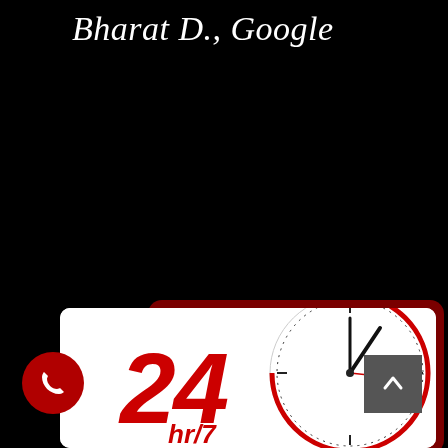Bharat D., Google
IMMEDIATE SERVICE – CLICK TO CALL: (208) 995-6027
[Figure (illustration): 24/7 service graphic showing a large red clock with clock hands and the text '24 hr/7' in bold red letters, with a phone call button on the bottom-left and an up-arrow navigation button on the bottom-right.]